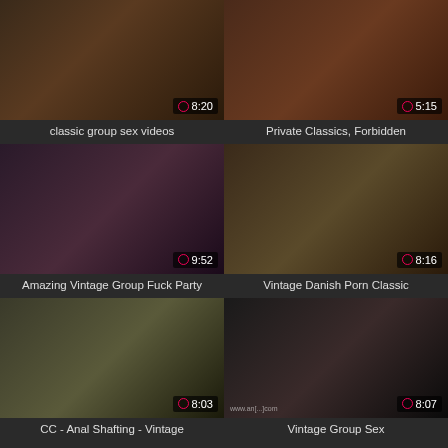[Figure (photo): Thumbnail: classic group sex videos, duration 8:20]
classic group sex videos
[Figure (photo): Thumbnail: Private Classics, Forbidden, duration 5:15]
Private Classics, Forbidden
[Figure (photo): Thumbnail: Amazing Vintage Group Fuck Party, duration 9:52]
Amazing Vintage Group Fuck Party
[Figure (photo): Thumbnail: Vintage Danish Porn Classic, duration 8:16]
Vintage Danish Porn Classic
[Figure (photo): Thumbnail: CC - Anal Shafting - Vintage, duration 8:03]
CC - Anal Shafting - Vintage
[Figure (photo): Thumbnail: Vintage Group Sex, duration 8:07]
Vintage Group Sex